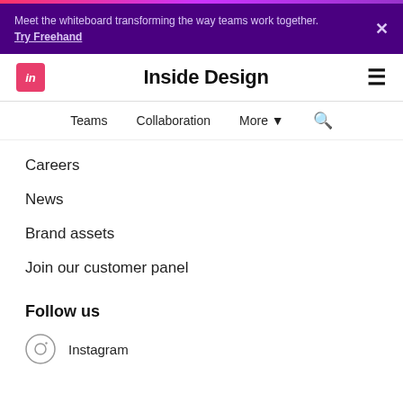Meet the whiteboard transforming the way teams work together.
Try Freehand
Inside Design
Teams
Collaboration
More
Careers
News
Brand assets
Join our customer panel
Follow us
Instagram